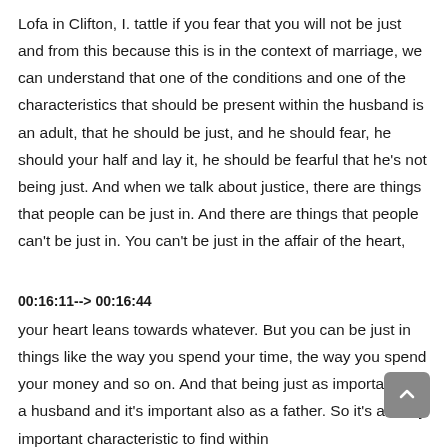Lofa in Clifton, I. tattle if you fear that you will not be just and from this because this is in the context of marriage, we can understand that one of the conditions and one of the characteristics that should be present within the husband is an adult, that he should be just, and he should fear, he should your half and lay it, he should be fearful that he's not being just. And when we talk about justice, there are things that people can be just in. And there are things that people can't be just in. You can't be just in the affair of the heart,
00:16:11--> 00:16:44
your heart leans towards whatever. But you can be just in things like the way you spend your time, the way you spend your money and so on. And that being just as important as a husband and it's important also as a father. So it's a really important characteristic to find within